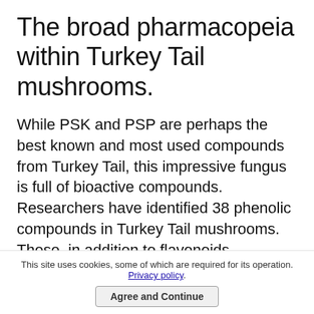The broad pharmacopeia within Turkey Tail mushrooms.
While PSK and PSP are perhaps the best known and most used compounds from Turkey Tail, this impressive fungus is full of bioactive compounds. Researchers have identified 38 phenolic compounds in Turkey Tail mushrooms. These, in addition to flavonoids, terpenoids, and other polysaccharides, mean that Turkey
This site uses cookies, some of which are required for its operation. Privacy policy